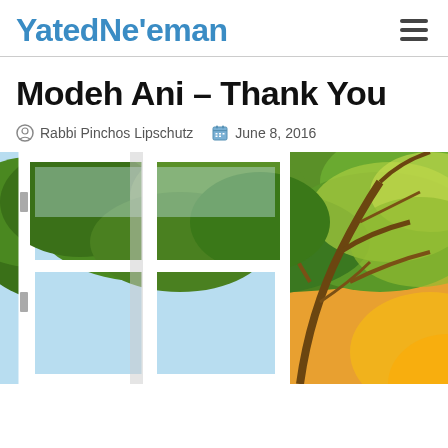Yated Ne'eman
Modeh Ani – Thank You
Rabbi Pinchos Lipschutz   June 8, 2016
[Figure (photo): An open white window with view of sunlit green tree canopy and blue sky]